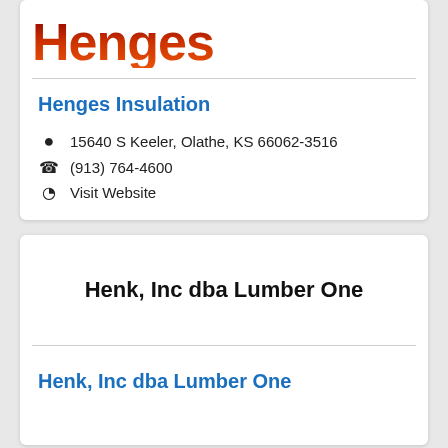[Figure (logo): Henges company logo with large bold text in dark red/orange gradient]
Henges Insulation
15640 S Keeler, Olathe, KS 66062-3516
(913) 764-4600
Visit Website
[Figure (logo): Henk, Inc dba Lumber One logo/name in bold black text]
Henk, Inc dba Lumber One